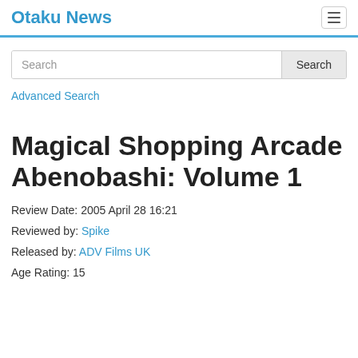Otaku News
Search
Advanced Search
Magical Shopping Arcade Abenobashi: Volume 1
Review Date: 2005 April 28 16:21
Reviewed by: Spike
Released by: ADV Films UK
Age Rating: 15